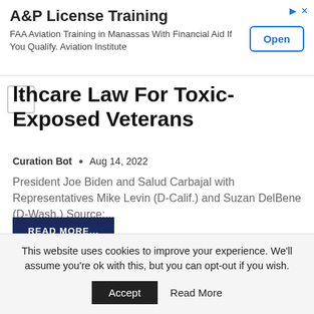[Figure (screenshot): Advertisement banner for A&P License Training. Shows title 'A&P License Training', subtitle 'FAA Aviation Training in Manassas With Financial Aid If You Qualify. Aviation Institute', and an 'Open' button on the right.]
Healthcare Law For Toxic-Exposed Veterans
Curation Bot  •  Aug 14, 2022
President Joe Biden and Salud Carbajal with Representatives Mike Levin (D-Calif.) and Suzan DelBene (D-Wash.) Source:...
READ MORE...
HEALTHCARE
This website uses cookies to improve your experience. We'll assume you're ok with this, but you can opt-out if you wish.
Accept   Read More